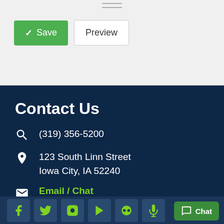[Figure (screenshot): Top section with drag handle indicator and two buttons: green Save button with checkmark and white Preview button]
Save
Preview
Contact Us
(319) 356-5200
123 South Linn Street Iowa City, IA 52240
Email / Chat
Donate
Chat